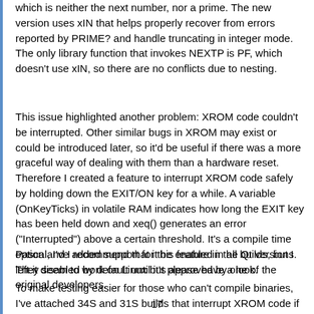which is neither the next number, nor a prime. The new version uses xIN that helps properly recover from errors reported by PRIME? and handle truncating in integer mode. The only library function that invokes NEXTP is PF, which doesn't use xIN, so there are no conflicts due to nesting.
This issue highlighted another problem: XROM code couldn't be interrupted. Other similar bugs in XROM may exist or could be introduced later, so it'd be useful if there was a more graceful way of dealing with them than a hardware reset. Therefore I created a feature to interrupt XROM code safely by holding down the EXIT/ON key for a while. A variable (OnKeyTicks) in volatile RAM indicates how long the EXIT key has been held down and xeq() generates an error ("Interrupted") above a certain threshold. It's a compile time option and I recommend that it be enabled in all builds, but I left it disabled by default until it's approved by one of the original developers.
Pascal, I've added support for this feature in the Qt versions. They seem to work on Linux but please have a look.
To make testing easier for those who can't compile binaries, I've attached 34S and 31S builds that interrupt XROM code if the EXIT key is held down for 1 second, and they include the old
17